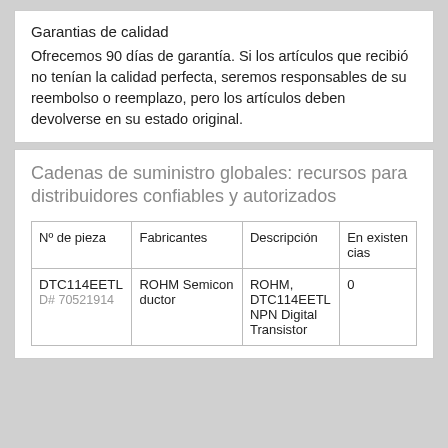Garantias de calidad
Ofrecemos 90 días de garantía. Si los artículos que recibió no tenían la calidad perfecta, seremos responsables de su reembolso o reemplazo, pero los artículos deben devolverse en su estado original.
Cadenas de suministro globales: recursos para distribuidores confiables y autorizados
| Nº de pieza | Fabricantes | Descripción | En existencias |
| --- | --- | --- | --- |
| DTC114EETL
D# 70521914 | ROHM Semiconductor | ROHM, DTC114EETL NPN Digital Transistor | 0 |